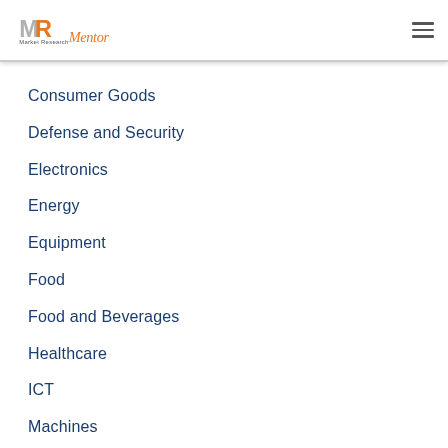Market Research Mentor
Consumer Goods
Defense and Security
Electronics
Energy
Equipment
Food
Food and Beverages
Healthcare
ICT
Machines